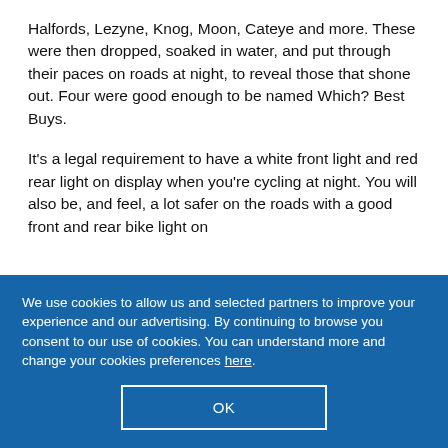Halfords, Lezyne, Knog, Moon, Cateye and more. These were then dropped, soaked in water, and put through their paces on roads at night, to reveal those that shone out. Four were good enough to be named Which? Best Buys.
It's a legal requirement to have a white front light and red rear light on display when you're cycling at night. You will also be, and feel, a lot safer on the roads with a good front and rear bike light on
We use cookies to allow us and selected partners to improve your experience and our advertising. By continuing to browse you consent to our use of cookies. You can understand more and change your cookies preferences here.